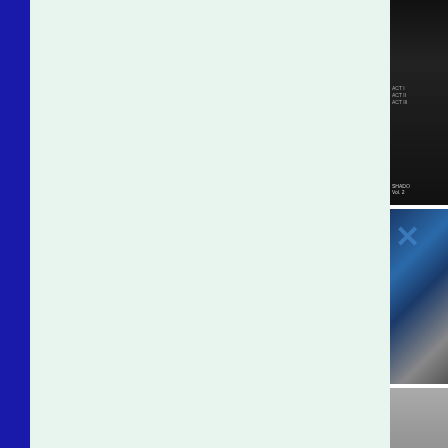[Figure (other): Dark navy/blue vertical bar on the left edge of the page]
[Figure (other): Light mint/green main content area, mostly blank]
[Figure (photo): First thumbnail on right panel: dark/black book cover with small text lines visible]
[Figure (photo): Second thumbnail on right panel: book cover with large blue X shape and mountain/snow imagery]
[Figure (photo): Third thumbnail on right panel: grey/stone textured surface or cover]
[Figure (photo): Fourth thumbnail on right panel: reddish-brown and green tones, figures or people visible]
[Figure (photo): Fifth thumbnail on right panel: grey textured cover with italic text]